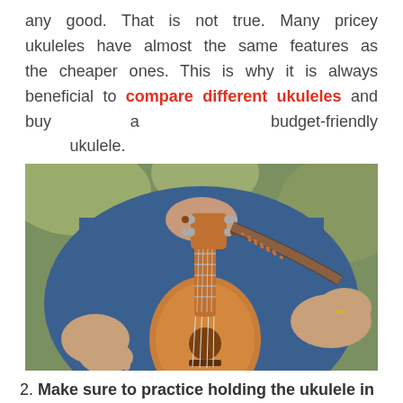any good. That is not true. Many pricey ukuleles have almost the same features as the cheaper ones. This is why it is always beneficial to compare different ukuleles and buy a budget-friendly ukulele.
[Figure (photo): Person in a blue t-shirt playing a ukulele outdoors, holding the instrument with both hands, with a decorative strap visible.]
2. Make sure to practice holding the ukulele in